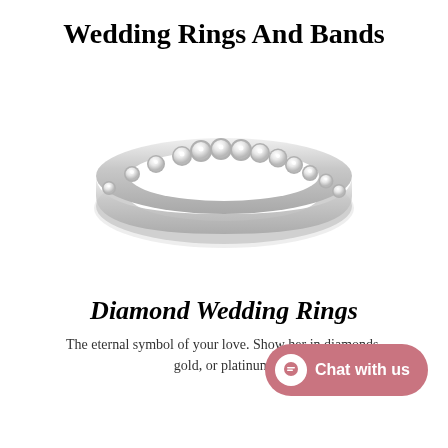Wedding Rings And Bands
[Figure (photo): A diamond wedding band ring with multiple round diamonds set along the top half in a platinum or white gold setting, photographed on white background.]
Diamond Wedding Rings
The eternal symbol of your love. Show her in diamonds, gold, or platinum.